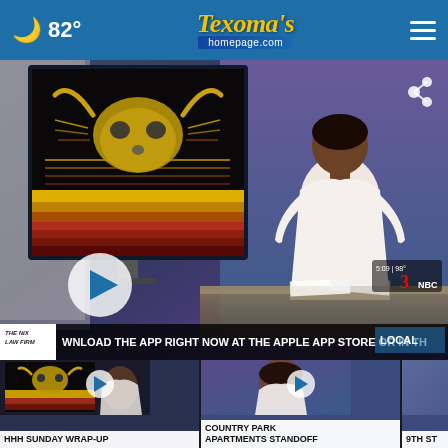🌙 82° | Texoma's homepage.com | ☰
[Figure (screenshot): News broadcast screenshot showing a TV anchor in a white dress sitting at a desk with a bull skull graphic on a monitor behind her. A play button overlay is visible. Bottom ticker reads: THE NIX LAW FIRM | WNLOAD THE APP RIGHT NOW AT THE APPLE APP STORE OR IN TH | LOCAL]
HHH SUNDAY WRAP-UP
COUNTRY PARK APARTMENTS STANDOFF
9TH ST